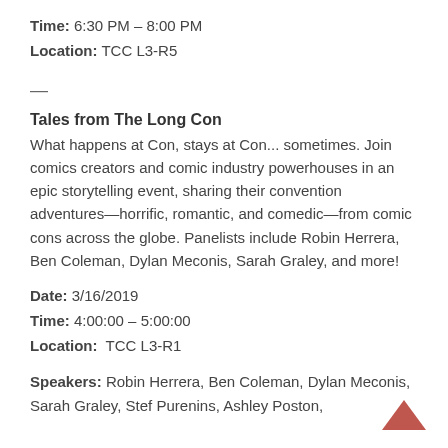Time: 6:30 PM – 8:00 PM
Location: TCC L3-R5
—
Tales from The Long Con
What happens at Con, stays at Con... sometimes. Join comics creators and comic industry powerhouses in an epic storytelling event, sharing their convention adventures—horrific, romantic, and comedic—from comic cons across the globe. Panelists include Robin Herrera, Ben Coleman, Dylan Meconis, Sarah Graley, and more!
Date: 3/16/2019
Time: 4:00:00 – 5:00:00
Location:  TCC L3-R1
Speakers: Robin Herrera, Ben Coleman, Dylan Meconis,  Sarah Graley, Stef Purenins, Ashley Poston,